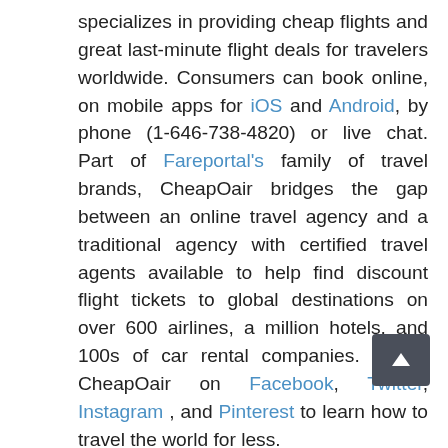specializes in providing cheap flights and great last-minute flight deals for travelers worldwide. Consumers can book online, on mobile apps for iOS and Android, by phone (1-646-738-4820) or live chat. Part of Fareportal's family of travel brands, CheapOair bridges the gap between an online travel agency and a traditional agency with certified travel agents available to help find discount flight tickets to global destinations on over 600 airlines, a million hotels, and 100s of car rental companies. Follow CheapOair on Facebook, Twitter, Instagram , and Pinterest to learn how to travel the world for less.